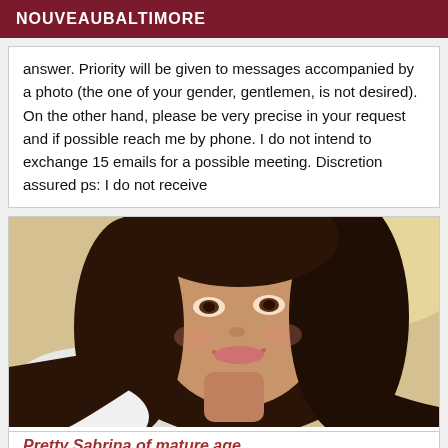NOUVEAUBALTIMORE
answer. Priority will be given to messages accompanied by a photo (the one of your gender, gentlemen, is not desired). On the other hand, please be very precise in your request and if possible reach me by phone. I do not intend to exchange 15 emails for a possible meeting. Discretion assured ps: I do not receive
[Figure (photo): Close-up photo of a smiling woman with long dark brown hair, tilting her head, wearing a light-colored top, warm indoor background.]
Pretty Sabrina of mature age